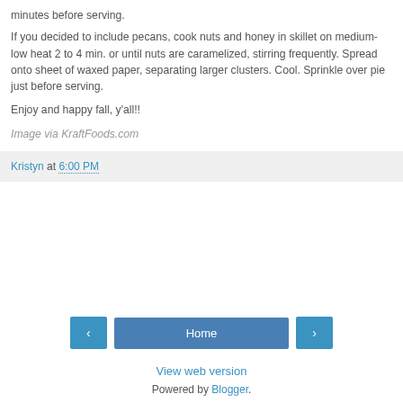minutes before serving.
If you decided to include pecans, cook nuts and honey in skillet on medium-low heat 2 to 4 min. or until nuts are caramelized, stirring frequently. Spread onto sheet of waxed paper, separating larger clusters. Cool. Sprinkle over pie just before serving.
Enjoy and happy fall, y'all!!
Image via KraftFoods.com
Kristyn at 6:00 PM
Home
View web version
Powered by Blogger.